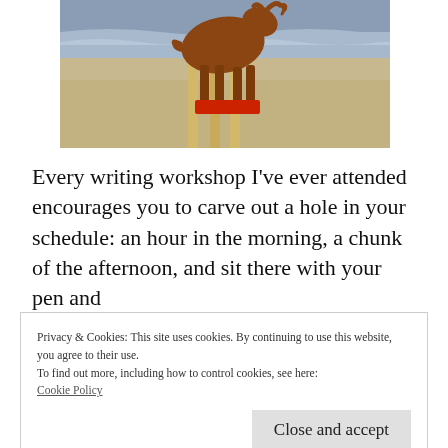[Figure (photo): A wooden animal sculpture (appears to be a moose or deer cutout) standing on poles on a sandy beach with ocean waves in the background. The base has a red element.]
Every writing workshop I’ve ever attended encourages you to carve out a hole in your schedule: an hour in the morning, a chunk of the afternoon, and sit there with your pen and
Privacy & Cookies: This site uses cookies. By continuing to use this website, you agree to their use.
To find out more, including how to control cookies, see here:
Cookie Policy

Close and accept
consciousness rambling, will suddenly turn